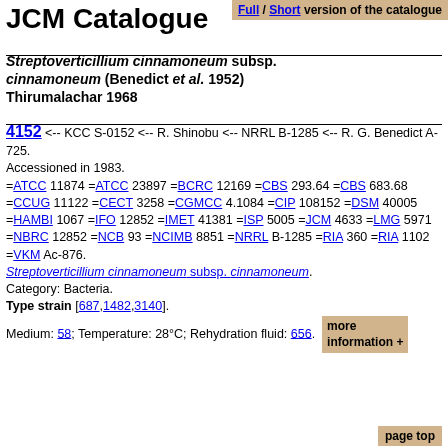Full / Short version of the catalogue
JCM Catalogue
Streptoverticillium cinnamoneum subsp. cinnamoneum (Benedict et al. 1952) Thirumalachar 1968
4152 <-- KCC S-0152 <-- R. Shinobu <-- NRRL B-1285 <-- R. G. Benedict A-725.
Accessioned in 1983.
=ATCC 11874 =ATCC 23897 =BCRC 12169 =CBS 293.64 =CBS 683.68 =CCUG 11122 =CECT 3258 =CGMCC 4.1084 =CIP 108152 =DSM 40005 =HAMBI 1067 =IFO 12852 =IMET 41381 =ISP 5005 =JCM 4633 =LMG 5971 =NBRC 12852 =NCB 93 =NCIMB 8851 =NRRL B-1285 =RIA 360 =RIA 1102 =VKM Ac-876.
Streptoverticillium cinnamoneum subsp. cinnamoneum.
Category: Bacteria.
Type strain [687,1482,3140].
Medium: 58;  Temperature: 28°C; Rehydration fluid: 656.  more information +